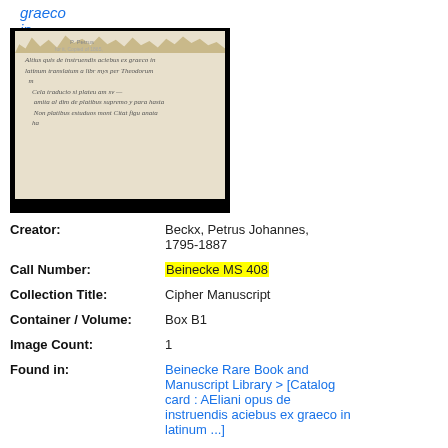graeco in latinum ...]
[Figure (photo): Thumbnail image of a manuscript page with torn top edge, showing handwritten italic Latin text on aged paper, against a black background.]
Creator: Beckx, Petrus Johannes, 1795-1887
Call Number: Beinecke MS 408
Collection Title: Cipher Manuscript
Container / Volume: Box B1
Image Count: 1
Found in: Beinecke Rare Book and Manuscript Library > [Catalog card : AEliani opus de instruendis aciebus ex graeco in latinum ...]